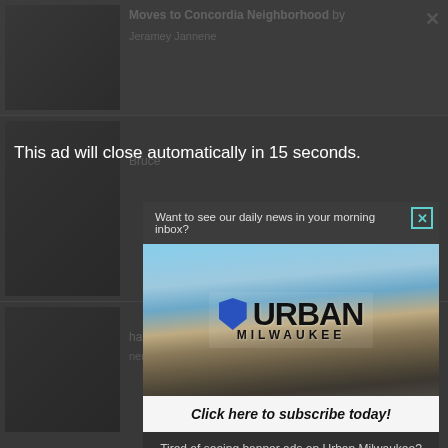[Figure (screenshot): Background page showing Urban Milwaukee article listings with darkened/blurred effect]
This ad will close automatically in 15 seconds.
[Figure (screenshot): Modal popup with Urban Milwaukee newsletter subscription prompt. Contains header 'Want to see our daily news in your morning inbox?', Urban Milwaukee logo over city skyline photo, 'Click here to subscribe today!' button, and footer text 'Tired of seeing banner ads on Urban Milwaukee? Become a member for $9/month.']
Want to see our daily news in your morning inbox?
Click here to subscribe today!
Tired of seeing banner ads on Urban Milwaukee? Become a member for $9/month.